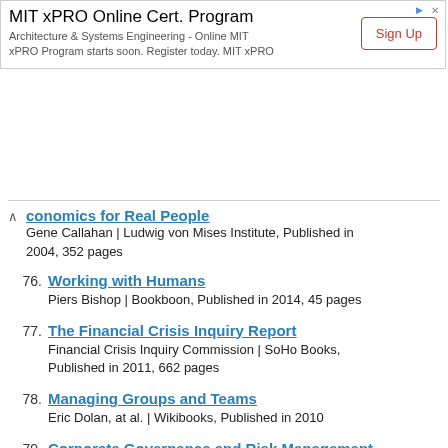[Figure (other): MIT xPRO Online Cert. Program advertisement banner with Sign Up button]
Economics for Real People — Gene Callahan | Ludwig von Mises Institute, Published in 2004, 352 pages
76. Working with Humans — Piers Bishop | Bookboon, Published in 2014, 45 pages
77. The Financial Crisis Inquiry Report — Financial Crisis Inquiry Commission | SoHo Books, Published in 2011, 662 pages
78. Managing Groups and Teams — Eric Dolan, at al. | Wikibooks, Published in 2010
79. Corporate Governance and Risk Management — David Crowther, Shahla Sefi | BookBoon, Published in 2012, 56 pages
80. Principles of Management — M. Carpenter, T. Bauer, B. Erdogan | Saylor Foundation,